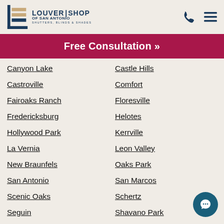Louver Shop of San Antonio – Shutters, Blinds & Shades
Free Consultation »
Canyon Lake
Castle Hills
Castroville
Comfort
Fairoaks Ranch
Floresville
Fredericksburg
Helotes
Hollywood Park
Kerrville
La Vernia
Leon Valley
New Braunfels
Oaks Park
San Antonio
San Marcos
Scenic Oaks
Schertz
Seguin
Shavano Park
Spring Branch
Terrell Heights
Universal City
Windcrest